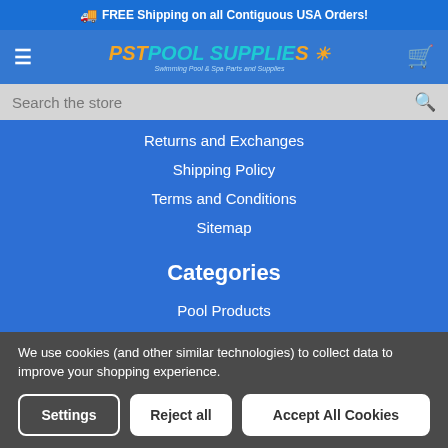🚚 FREE Shipping on all Contiguous USA Orders!
[Figure (logo): PST Pool Supplies logo with sun icon and tagline 'Swimming Pool & Spa Parts and Supplies']
Search the store
Returns and Exchanges
Shipping Policy
Terms and Conditions
Sitemap
Categories
Pool Products
Spa Products
Parts
We use cookies (and other similar technologies) to collect data to improve your shopping experience.
Settings | Reject all | Accept All Cookies